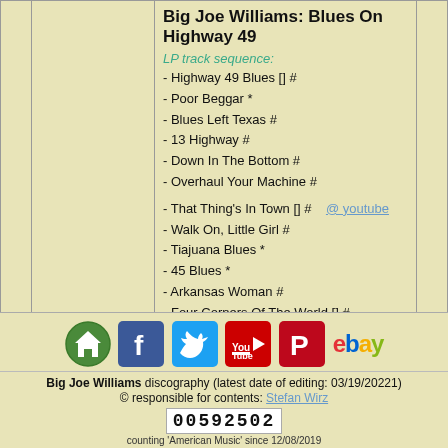Big Joe Williams: Blues On Highway 49
LP track sequence:
- Highway 49 Blues [] #
- Poor Beggar *
- Blues Left Texas #
- 13 Highway #
- Down In The Bottom #
- Overhaul Your Machine #
- That Thing's In Town [] #   @ youtube
- Walk On, Little Girl #
- Tiajuana Blues *
- 45 Blues *
- Arkansas Woman #
- Four Corners Of The World [] #
CD track sequence:
- Highway 49 Blues [] #
- Overhaul Your Machine #
- Blues Left Texas #
[Figure (infographic): Social media icons: home, Facebook, Twitter, YouTube, Pinterest, eBay]
Big Joe Williams discography (latest date of editing: 03/19/20221)
© responsible for contents: Stefan Wirz
00592502
counting 'American Music' since 12/08/2019